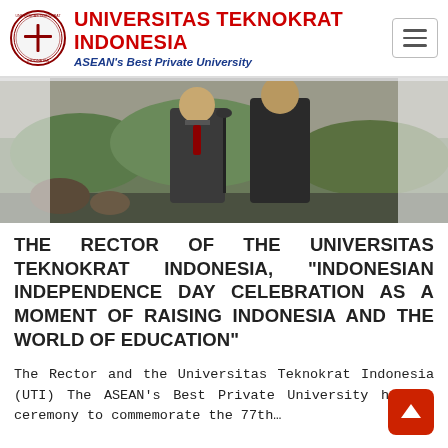UNIVERSITAS TEKNOKRAT INDONESIA — ASEAN's Best Private University
[Figure (photo): Two men in dark suits standing outdoors near a microphone stand, with greenery in the background.]
THE RECTOR OF THE UNIVERSITAS TEKNOKRAT INDONESIA, "INDONESIAN INDEPENDENCE DAY CELEBRATION AS A MOMENT OF RAISING INDONESIA AND THE WORLD OF EDUCATION"
The Rector and the Universitas Teknokrat Indonesia (UTI) The ASEAN's Best Private University held a ceremony to commemorate the 77th...